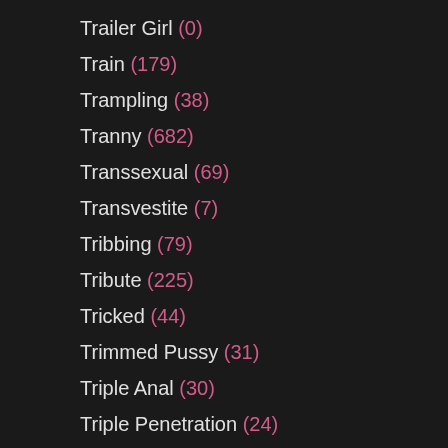Trailer Girl (0)
Train (179)
Trampling (38)
Tranny (682)
Transsexual (69)
Transvestite (7)
Tribbing (79)
Tribute (225)
Tricked (44)
Trimmed Pussy (31)
Triple Anal (30)
Triple Penetration (24)
Truth Or Dare (7)
Tugjob (126)
Turkish (1867)